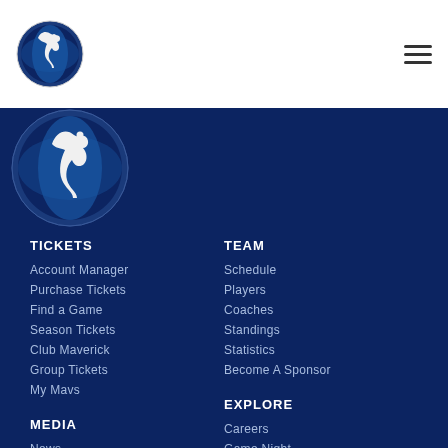[Figure (logo): Dallas Mavericks logo - small in white header bar]
[Figure (logo): Dallas Mavericks logo - large in dark blue nav area]
TICKETS
Account Manager
Purchase Tickets
Find a Game
Season Tickets
Club Maverick
Group Tickets
My Mavs
TEAM
Schedule
Players
Coaches
Standings
Statistics
Become A Sponsor
MEDIA
News
Videos
Gallery
EXPLORE
Careers
Game Night
Camps